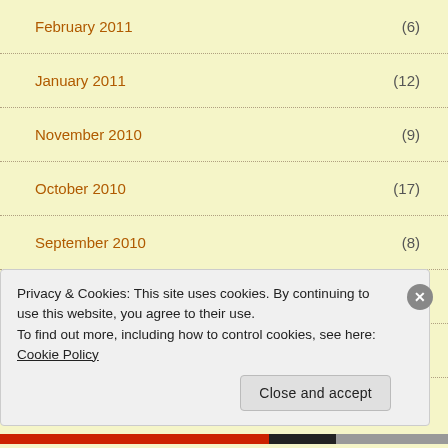February 2011 (6)
January 2011 (12)
November 2010 (9)
October 2010 (17)
September 2010 (8)
August 2010 (7)
July 2010 (2)
Privacy & Cookies: This site uses cookies. By continuing to use this website, you agree to their use.
To find out more, including how to control cookies, see here: Cookie Policy